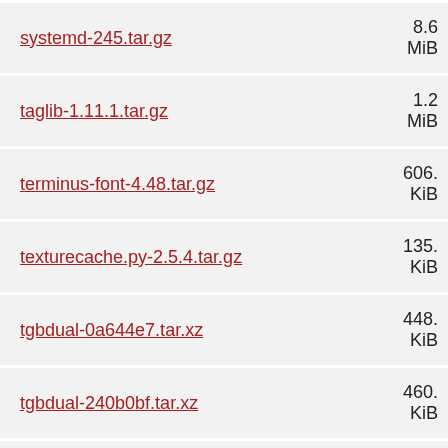systemd-245.tar.gz  8.6 MiB
taglib-1.11.1.tar.gz  1.2 MiB
terminus-font-4.48.tar.gz  606.? KiB
texturecache.py-2.5.4.tar.gz  135.? KiB
tgbdual-0a644e7.tar.xz  448.? KiB
tgbdual-240b0bf.tar.xz  460.? KiB
tgbdual-9be31d3.tar.xz  459.? KiB
451...